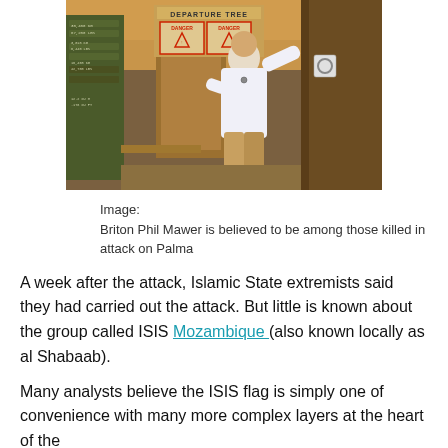[Figure (photo): A man in a white long-sleeve shirt stands in front of a wooden sign reading 'DEPARTURE TREE'. There are military-style ammo boxes on the left with text markings. A wooden fence is visible on the right. The setting appears to be an outdoor area.]
Image:
Briton Phil Mawer is believed to be among those killed in attack on Palma
A week after the attack, Islamic State extremists said they had carried out the attack. But little is known about the group called ISIS Mozambique (also known locally as al Shabaab).
Many analysts believe the ISIS flag is simply one of convenience with many more complex layers at the heart of the...